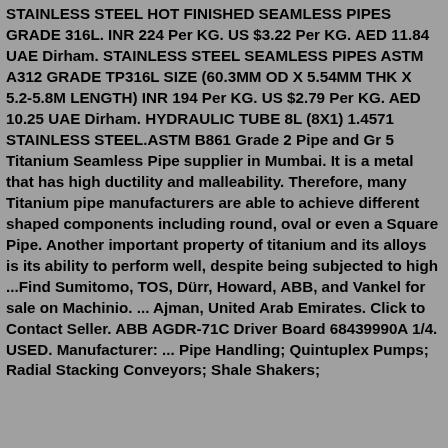STAINLESS STEEL HOT FINISHED SEAMLESS PIPES GRADE 316L. INR 224 Per KG. US $3.22 Per KG. AED 11.84 UAE Dirham. STAINLESS STEEL SEAMLESS PIPES ASTM A312 GRADE TP316L SIZE (60.3MM OD X 5.54MM THK X 5.2-5.8M LENGTH) INR 194 Per KG. US $2.79 Per KG. AED 10.25 UAE Dirham. HYDRAULIC TUBE 8L (8X1) 1.4571 STAINLESS STEEL.ASTM B861 Grade 2 Pipe and Gr 5 Titanium Seamless Pipe supplier in Mumbai. It is a metal that has high ductility and malleability. Therefore, many Titanium pipe manufacturers are able to achieve different shaped components including round, oval or even a Square Pipe. Another important property of titanium and its alloys is its ability to perform well, despite being subjected to high ...Find Sumitomo, TOS, Dürr, Howard, ABB, and Vankel for sale on Machinio. ... Ajman, United Arab Emirates. Click to Contact Seller. ABB AGDR-71C Driver Board 68439990A 1/4. USED. Manufacturer: ... Pipe Handling; Quintuplex Pumps; Radial Stacking Conveyors; Shale Shakers;